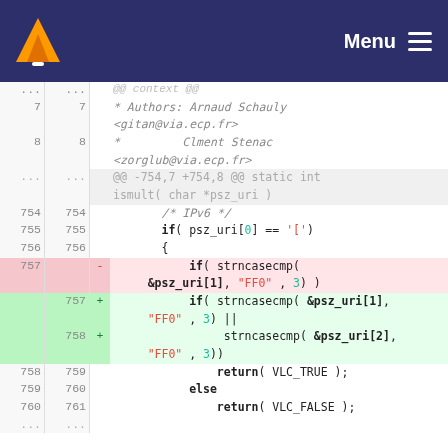VLC Menu
[Figure (screenshot): VLC media player logo (orange cone) in dark navy header bar with Menu hamburger icon on right]
Code diff view showing lines 7-761 of a C source file. Authors: Arnaud Schauly <gitan@via.ecp.fr> and Clment Stenac <zorglub@via.ecp.fr>. Diff hunk @@ -754,7 +754,8 @@ static int ismult( char *psz_uri ). Lines 754-756 unchanged (/* IPv6 */, if( psz_uri[0] == '['), {). Line 757 removed: - if( strncasecmp( &psz_uri[1], "FF0" , 3) ). Line 757 added: + if( strncasecmp( &psz_uri[1], "FF0" , 3) ||. Line 758 added: + strncasecmp( &psz_uri[2], "FF0" , 3)). Lines 758-761: return( VLC_TRUE ); else return( VLC_FALSE );. ... ellipsis rows at top and bottom.